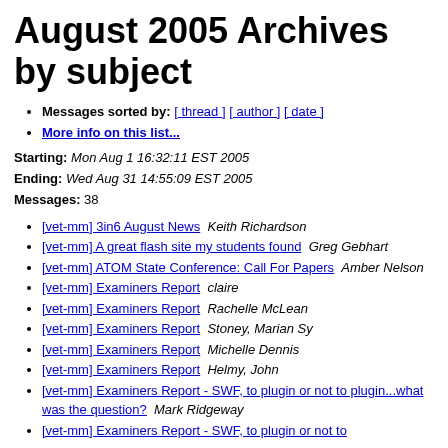August 2005 Archives by subject
Messages sorted by: [ thread ] [ author ] [ date ]
More info on this list...
Starting: Mon Aug 1 16:32:11 EST 2005
Ending: Wed Aug 31 14:55:09 EST 2005
Messages: 38
[vet-mm] 3in6 August News  Keith Richardson
[vet-mm] A great flash site my students found  Greg Gebhart
[vet-mm] ATOM State Conference: Call For Papers  Amber Nelson
[vet-mm] Examiners Report  claire
[vet-mm] Examiners Report  Rachelle McLean
[vet-mm] Examiners Report  Stoney, Marian Sy
[vet-mm] Examiners Report  Michelle Dennis
[vet-mm] Examiners Report  Helmy, John
[vet-mm] Examiners Report - SWF, to plugin or not to plugin...what was the question?  Mark Ridgeway
[vet-mm] Examiners Report - SWF, to plugin or not to ...